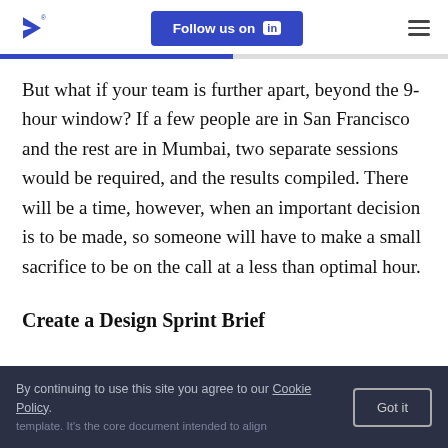Follow us on LinkedIn
But what if your team is further apart, beyond the 9-hour window? If a few people are in San Francisco and the rest are in Mumbai, two separate sessions would be required, and the results compiled. There will be a time, however, when an important decision is to be made, so someone will have to make a small sacrifice to be on the call at a less than optimal hour.
Create a Design Sprint Brief
By continuing to use this site you agree to our Cookie Policy.